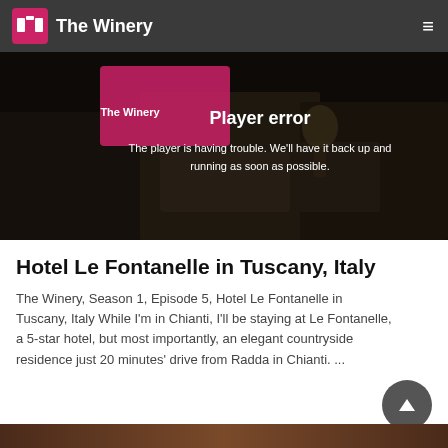The Winery
[Figure (screenshot): Video player showing 'Player error' message over a dark blurred hotel room background with 'The Winery' logo visible in upper left of video]
Hotel Le Fontanelle in Tuscany, Italy
The Winery, Season 1, Episode 5, Hotel Le Fontanelle in Tuscany, Italy While I'm in Chianti, I'll be staying at Le Fontanelle, a 5-star hotel, but most importantly, an elegant countryside residence just 20 minutes' drive from Radda in Chianti. ...